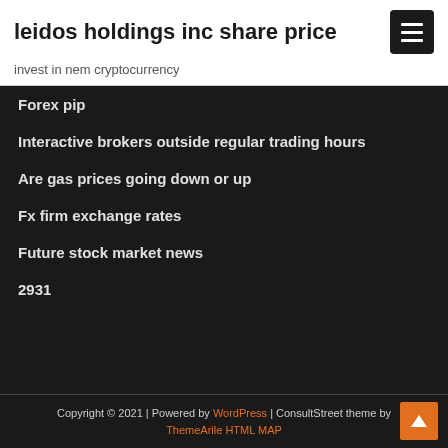leidos holdings inc share price
invest in nem cryptocurrency
Forex pip
Interactive brokers outside regular trading hours
Are gas prices going down or up
Fx firm exchange rates
Future stock market news
2931
Copyright © 2021 | Powered by WordPress | ConsultStreet theme by ThemeArile HTML MAP